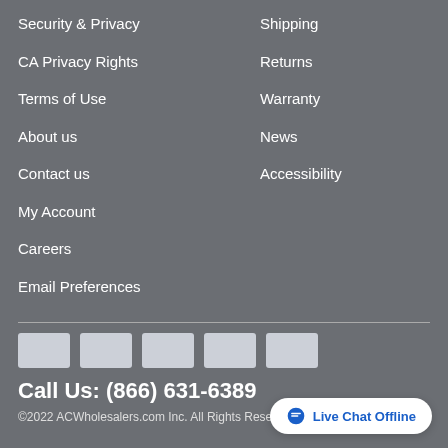Security & Privacy
CA Privacy Rights
Terms of Use
About us
Contact us
My Account
Careers
Email Preferences
Shipping
Returns
Warranty
News
Accessibility
[Figure (other): Five payment method icon placeholders (light grey rectangles)]
Call Us: (866) 631-6389
©2022 ACWholesalers.com Inc. All Rights Reserv...
Live Chat Offline